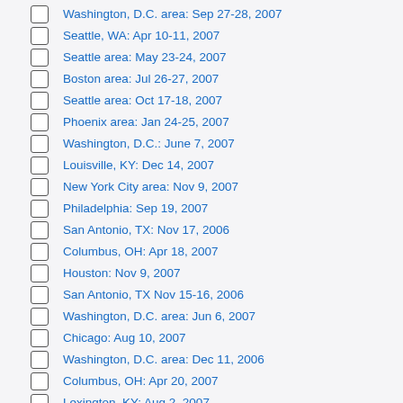Washington, D.C. area: Sep 27-28, 2007
Seattle, WA: Apr 10-11, 2007
Seattle area: May 23-24, 2007
Boston area: Jul 26-27, 2007
Seattle area: Oct 17-18, 2007
Phoenix area: Jan 24-25, 2007
Washington, D.C.: June 7, 2007
Louisville, KY: Dec 14, 2007
New York City area: Nov 9, 2007
Philadelphia: Sep 19, 2007
San Antonio, TX: Nov 17, 2006
Columbus, OH: Apr 18, 2007
Houston: Nov 9, 2007
San Antonio, TX Nov 15-16, 2006
Washington, D.C. area: Jun 6, 2007
Chicago: Aug 10, 2007
Washington, D.C. area: Dec 11, 2006
Columbus, OH: Apr 20, 2007
Lexington, KY: Aug 2, 2007